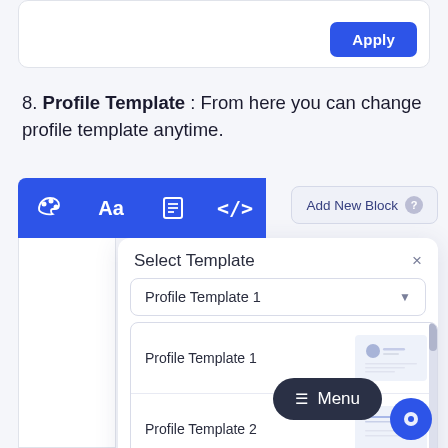[Figure (screenshot): Top white panel with an Apply button (blue, rounded) in the top-right corner]
8. Profile Template : From here you can change profile template anytime.
[Figure (screenshot): Toolbar with four blue icon tabs (palette, Aa, document, code) and an Add New Block button with help icon. Below is a Select Template dropdown panel showing Profile Template 1 selected and a list with Profile Template 1, Profile Template 2, Profile Template 3. A dark Menu pill button and a blue chat circle are overlaid at the bottom right.]